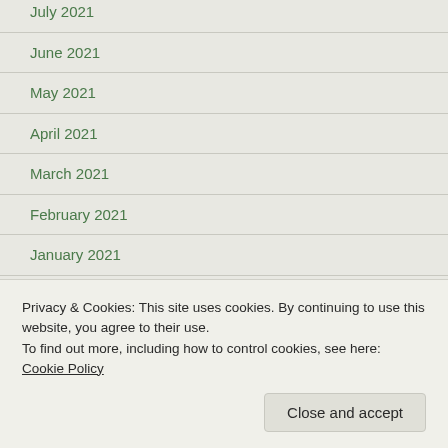July 2021
June 2021
May 2021
April 2021
March 2021
February 2021
January 2021
December 2020
November 2020
October 2020
Privacy & Cookies: This site uses cookies. By continuing to use this website, you agree to their use.
To find out more, including how to control cookies, see here: Cookie Policy